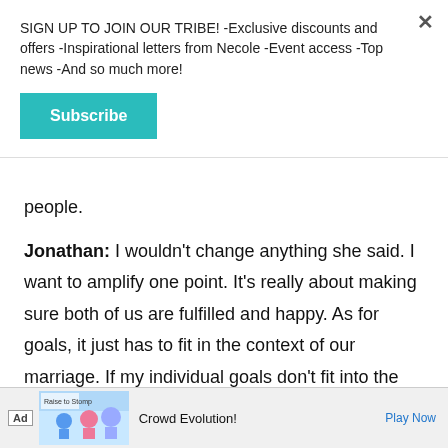SIGN UP TO JOIN OUR TRIBE! -Exclusive discounts and offers -Inspirational letters from Necole -Event access -Top news -And so much more!
Subscribe
people.
Jonathan: I wouldn't change anything she said. I want to amplify one point. It's really about making sure both of us are fulfilled and happy. As for goals, it just has to fit in the context of our marriage. If my individual goals don't fit into the context of our marriage, then I can't do it. At the end of the day,
[Figure (screenshot): Ad banner for Crowd Evolution! game with illustrated characters]